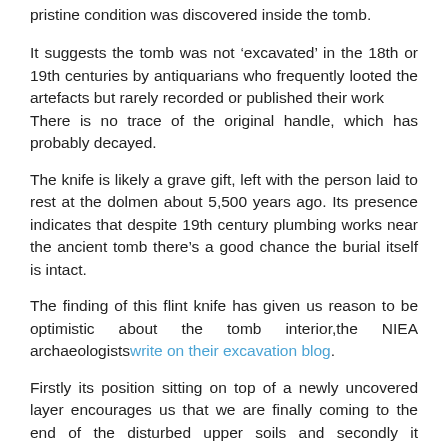pristine condition was discovered inside the tomb.
It suggests the tomb was not ‘excavated’ in the 18th or 19th centuries by antiquarians who frequently looted the artefacts but rarely recorded or published their work
There is no trace of the original handle, which has probably decayed.
The knife is likely a grave gift, left with the person laid to rest at the dolmen about 5,500 years ago. Its presence indicates that despite 19th century plumbing works near the ancient tomb there’s a good chance the burial itself is intact.
The finding of this flint knife has given us reason to be optimistic about the tomb interior,the NIEA archaeologists write on their excavation blog.
Firstly its position sitting on top of a newly uncovered layer encourages us that we are finally coming to the end of the disturbed upper soils and secondly it suggests to us that the tomb was not ‘excavated’ in the 18th or 19th centuries by antiquarians who frequently looted the artefacts but rarely recorded or published their work.
The excavations at the Tilnony portal tomb continue until the end of